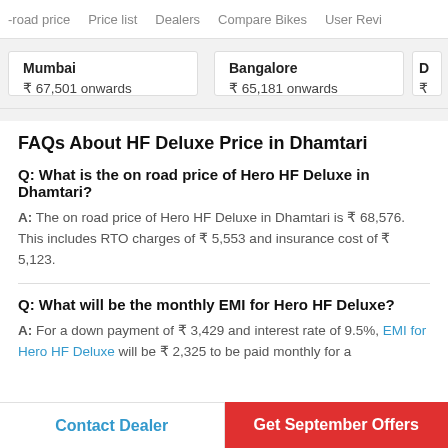-road price   Price list   Dealers   Compare Bikes   User Reviews
| City | Price |
| --- | --- |
| Mumbai | ₹ 67,501 onwards |
| Bangalore | ₹ 65,181 onwards |
FAQs About HF Deluxe Price in Dhamtari
Q: What is the on road price of Hero HF Deluxe in Dhamtari?
A: The on road price of Hero HF Deluxe in Dhamtari is ₹ 68,576. This includes RTO charges of ₹ 5,553 and insurance cost of ₹ 5,123.
Q: What will be the monthly EMI for Hero HF Deluxe?
A: For a down payment of ₹ 3,429 and interest rate of 9.5%, EMI for Hero HF Deluxe will be ₹ 2,325 to be paid monthly for a
Contact Dealer
Get September Offers